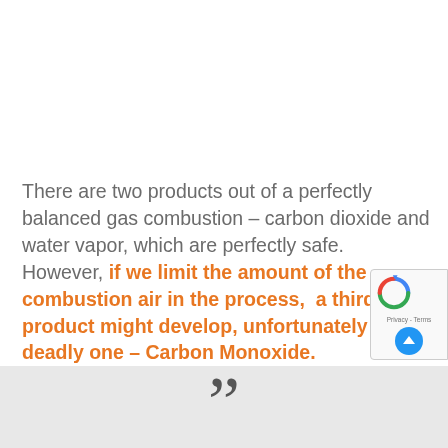There are two products out of a perfectly balanced gas combustion – carbon dioxide and water vapor, which are perfectly safe. However, if we limit the amount of the combustion air in the process,  a third bi-product might develop, unfortunately a deadly one – Carbon Monoxide.
[Figure (other): Large decorative closing double-quotation mark on a light grey banner at the bottom of the page]